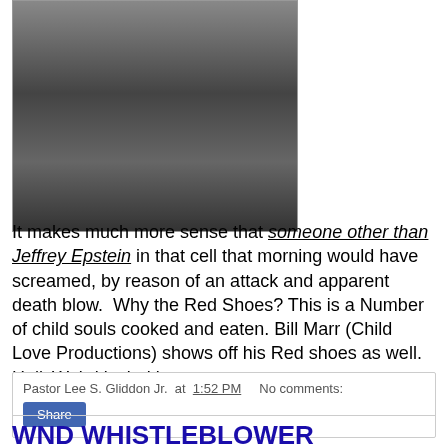[Figure (photo): Photo showing people in dark clothing, appears to be a news/event photo]
It makes much more sense that someone other than Jeffrey Epstein in that cell that morning would have screamed, by reason of an attack and apparent death blow.  Why the Red Shoes? This is a Number of child souls cooked and eaten. Bill Marr (Child Love Productions) shows off his Red shoes as well. HollyWeird is tied in...
Pastor Lee S. Gliddon Jr. at 1:52 PM   No comments:
Share
WND WHISTLEBLOWER 08/28/2019